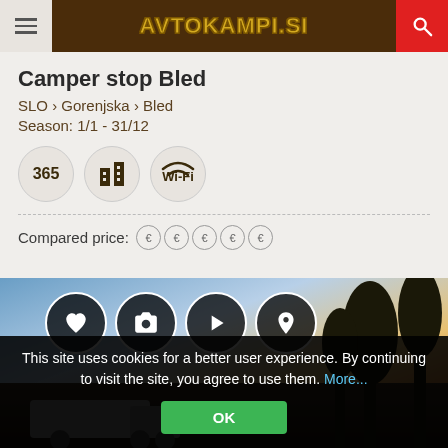AVTOKAMPI.SI
Camper stop Bled
SLO › Gorenjska › Bled
Season: 1/1 - 31/12
[Figure (infographic): Three circular badges: 365, building icon, WiFi icon]
Compared price: € € € € €
[Figure (photo): Outdoor camping photo with sunset sky and trees, overlaid with four circular action icons (heart, camera, play, location pin)]
This site uses cookies for a better user experience. By continuing to visit the site, you agree to use them. More...
OK